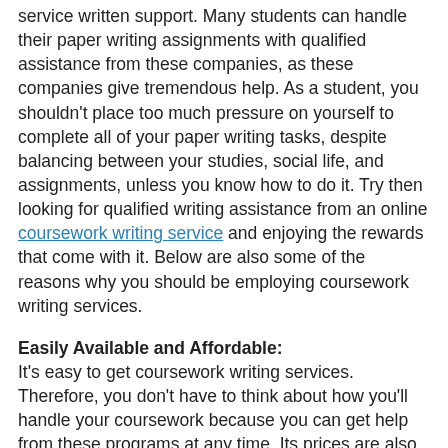service written support. Many students can handle their paper writing assignments with qualified assistance from these companies, as these companies give tremendous help. As a student, you shouldn't place too much pressure on yourself to complete all of your paper writing tasks, despite balancing between your studies, social life, and assignments, unless you know how to do it. Try then looking for qualified writing assistance from an online coursework writing service and enjoying the rewards that come with it. Below are also some of the reasons why you should be employing coursework writing services.
Easily Available and Affordable:
It's easy to get coursework writing services. Therefore, you don't have to think about how you'll handle your coursework because you can get help from these programs at any time. Its prices are also very fair. Therefore, you won't have to think about the costs or expenses you'll incur while finding support with academic coursework. While finding coursework writing service, however, make sure you settle for the services of a professional and reputable company. This is because there are some out there people who are just after